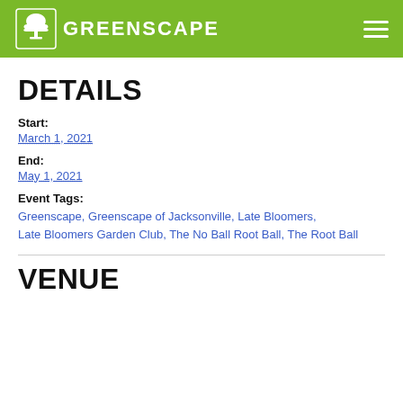Greenscape
DETAILS
Start:
March 1, 2021
End:
May 1, 2021
Event Tags:
Greenscape, Greenscape of Jacksonville, Late Bloomers, Late Bloomers Garden Club, The No Ball Root Ball, The Root Ball
VENUE